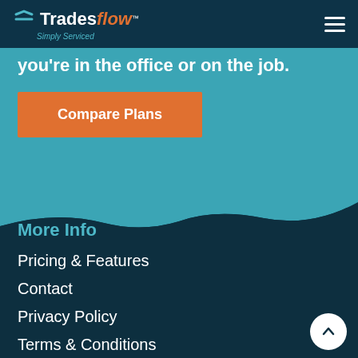Tradesflow™ Simply Serviced
you're in the office or on the job.
Compare Plans
More Info
Pricing & Features
Contact
Privacy Policy
Terms & Conditions
Login